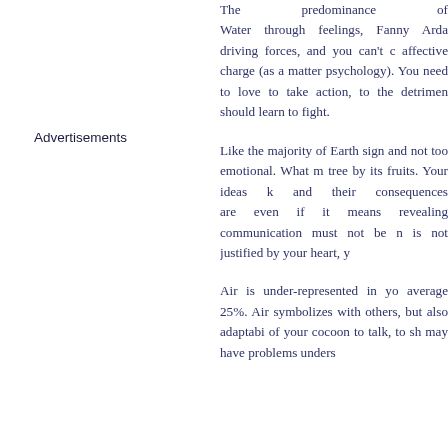The predominance of Water through feelings, Fanny Arda driving forces, and you can't c affective charge (as a matter psychology). You need to love to take action, to the detrimen should learn to fight.
Like the majority of Earth sig and not too emotional. What n tree by its fruits. Your ideas k and their consequences are even if it means revealing communication must not be n is not justified by your heart, y
Air is under-represented in yo average 25%. Air symbolizes with others, but also adaptabi of your cocoon to talk, to sh may have problems unders
Advertisements